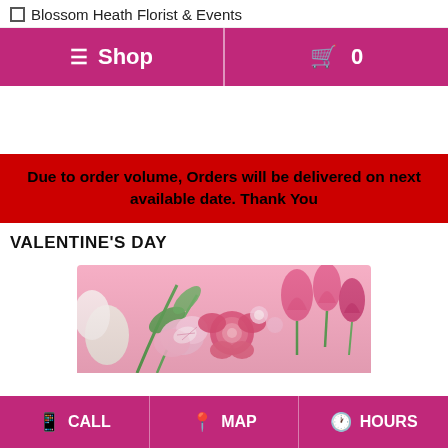Blossom Heath Florist & Events
≡ Shop | 🛒 0
Due to order volume, Orders will be delivered on next available date. Thank You
VALENTINE'S DAY
[Figure (photo): Flower arrangement with pink roses, tulips, and alstroemeria on a pink background]
CALL  MAP  HOURS